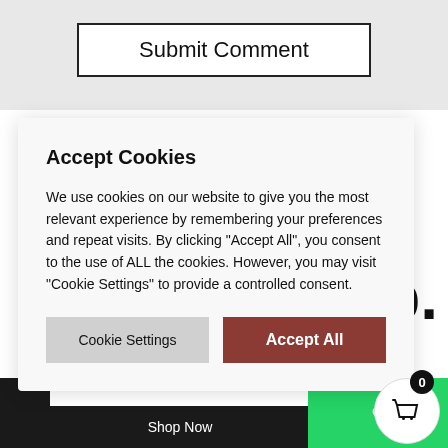[Figure (screenshot): Submit Comment button with black border on light gray background]
[Figure (screenshot): Cookie consent modal overlay with Accept Cookies title, descriptive text, Cookie Settings and Accept All buttons]
[Figure (screenshot): Shopping cart icon with count badge 0 and green WhatsApp button at bottom right]
[Figure (screenshot): Shop Now bottom bar button]